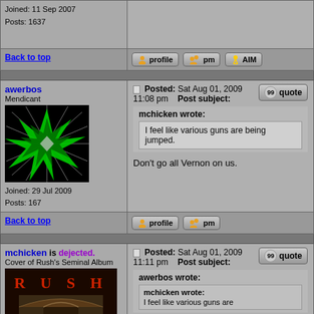Joined: 11 Sep 2007
Posts: 1637
Back to top
awerbos
Mendicant
Joined: 29 Jul 2009
Posts: 167
Posted: Sat Aug 01, 2009 11:08 pm    Post subject:
mchicken wrote:
I feel like various guns are being jumped.
Don't go all Vernon on us.
Back to top
mchicken is dejected.
Cover of Rush's Seminal Album
Posted: Sat Aug 01, 2009 11:11 pm    Post subject:
awerbos wrote:
mchicken wrote:
I feel like various guns are